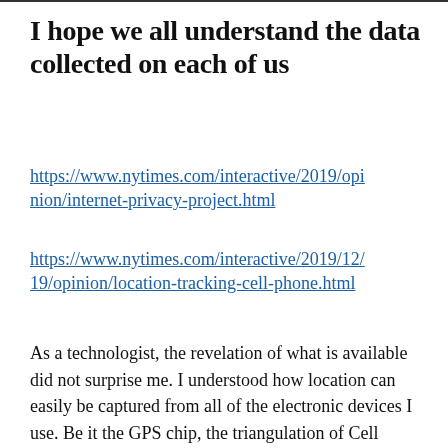I hope we all understand the data collected on each of us
https://www.nytimes.com/interactive/2019/opinion/internet-privacy-project.html
https://www.nytimes.com/interactive/2019/12/19/opinion/location-tracking-cell-phone.html
As a technologist, the revelation of what is available did not surprise me. I understood how location can easily be captured from all of the electronic devices I use. Be it the GPS chip, the triangulation of Cell Towers or the IP address of the router I am using to access the Internet.